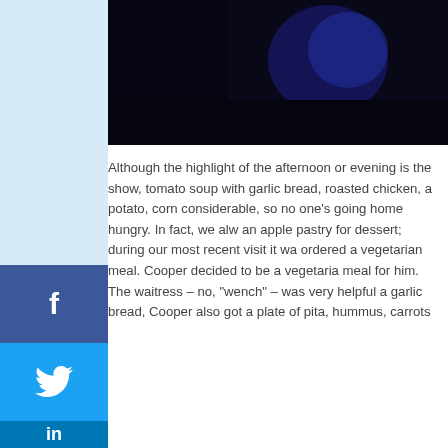[Figure (photo): Dark image at top of article, appears to show a stage or dark scene with blue lighting]
Although the highlight of the afternoon or evening is the show, tomato soup with garlic bread, roasted chicken, a potato, corn considerable, so no one's going home hungry. In fact, we always an apple pastry for dessert; during our most recent visit it was ordered a vegetarian meal. Cooper decided to be a vegetarian meal for him. The waitress – no, "wench" – was very helpful a garlic bread, Cooper also got a plate of pita, hummus, carrots
[Figure (photo): Close-up photo of what appears to be food in a dark bowl or pan]
Join Our Newsletter
Enter your email
Subscribe